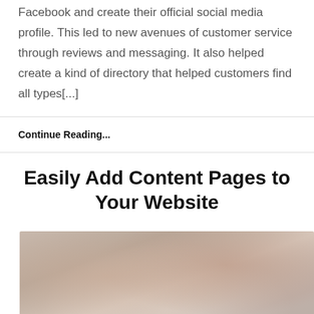Facebook and create their official social media profile. This led to new avenues of customer service through reviews and messaging. It also helped create a kind of directory that helped customers find all types[...]
Continue Reading...
Easily Add Content Pages to Your Website
[Figure (photo): A blurred photograph showing muted warm tones of brown, beige, and soft green, likely depicting a desk or workspace scene.]